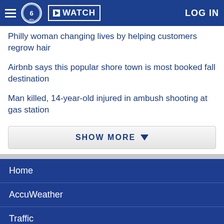WATCH | LOG IN
Philly woman changing lives by helping customers regrow hair
Airbnb says this popular shore town is most booked fall destination
Man killed, 14-year-old injured in ambush shooting at gas station
SHOW MORE
Home
AccuWeather
Traffic
Local News
Categories
Station Info